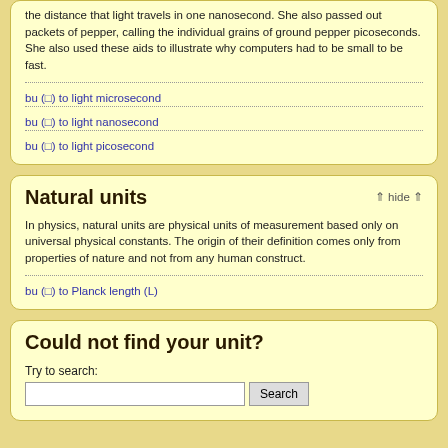the distance that light travels in one nanosecond. She also passed out packets of pepper, calling the individual grains of ground pepper picoseconds. She also used these aids to illustrate why computers had to be small to be fast.
bu (□) to light microsecond
bu (□) to light nanosecond
bu (□) to light picosecond
Natural units
In physics, natural units are physical units of measurement based only on universal physical constants. The origin of their definition comes only from properties of nature and not from any human construct.
bu (□) to Planck length (L)
Could not find your unit?
Try to search: